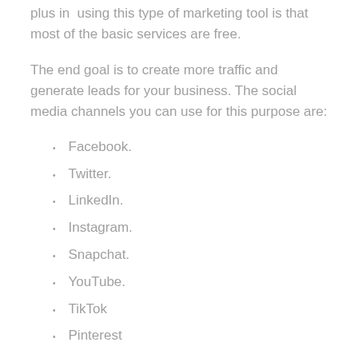plus in using this type of marketing tool is that most of the basic services are free.
The end goal is to create more traffic and generate leads for your business. The social media channels you can use for this purpose are:
Facebook.
Twitter.
LinkedIn.
Instagram.
Snapchat.
YouTube.
TikTok
Pinterest